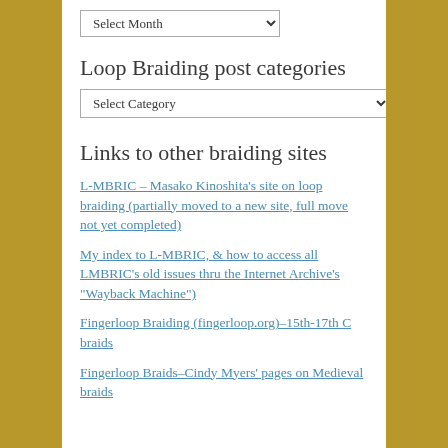[Figure (other): Select Month dropdown widget]
Loop Braiding post categories
[Figure (other): Select Category dropdown widget]
Links to other braiding sites
L-MBRIC – Masako Kinoshita's site on loop braiding (partially moved to a new site, full move not yet completed)
My index to L-MBRIC, & how to access all LMBRIC's old issues thru the Internet Archive's "Wayback Machine")
Fingerloop Braiding (fingerloop.org)–15th-17th C braids
Fingerloop Braids–Cindy Myers' pages on Medieval braids